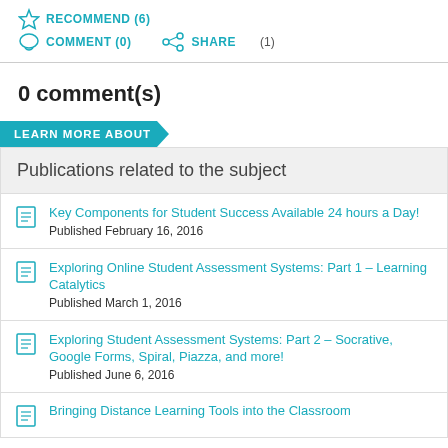RECOMMEND (6)
COMMENT (0)    SHARE    (1)
0 comment(s)
LEARN MORE ABOUT
Publications related to the subject
Key Components for Student Success Available 24 hours a Day!
Published February 16, 2016
Exploring Online Student Assessment Systems: Part 1 – Learning Catalytics
Published March 1, 2016
Exploring Student Assessment Systems: Part 2 – Socrative, Google Forms, Spiral, Piazza, and more!
Published June 6, 2016
Bringing Distance Learning Tools into the Classroom